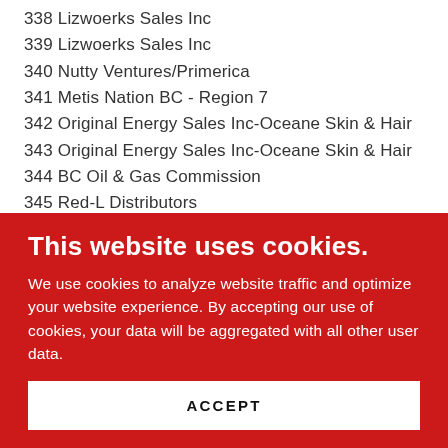338 Lizwoerks Sales Inc
339 Lizwoerks Sales Inc
340 Nutty Ventures/Primerica
341 Metis Nation BC - Region 7
342 Original Energy Sales Inc-Oceane Skin & Hair
343 Original Energy Sales Inc-Oceane Skin & Hair
344 BC Oil & Gas Commission
345 Red-L Distributors
This website uses cookies.
We use cookies to analyze website traffic and optimize your website experience. By accepting our use of cookies, your data will be aggregated with all other user data.
ACCEPT